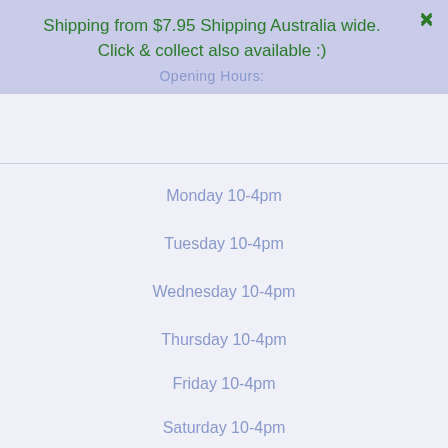Shipping from $7.95 Shipping Australia wide. Click & collect also available :)
Opening Hours:
Monday 10-4pm
Tuesday 10-4pm
Wednesday 10-4pm
Thursday 10-4pm
Friday 10-4pm
Saturday 10-4pm
Sunday 10-3pm
Australia wide shipping from $7.95. Click & Collect available too.